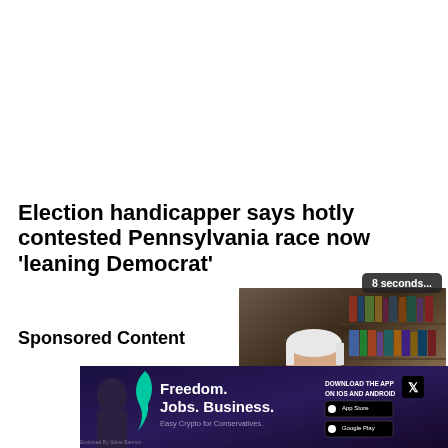Election handicapper says hotly contested Pennsylvania race now 'leaning Democrat'
Sponsored Content
[Figure (screenshot): Video player showing a man with white hair and glasses in a dark blazer, seated in front of a bookshelf. Video controls visible at bottom including pause, back, settings, and theater mode icons. 'Just the News' logo in controls. Timer overlay showing '8 seconds...']
[Figure (photo): Advertisement banner with dark purple/navy background. Shows text 'Freedom. Jobs. Business.' and 'Easy Crypto for Conservatives.' with 'DOWNLOAD THE APP ON IOS AND ANDROID' and app store badges. X (Twitter) badge. Person silhouette on left. 'Endorsed by Steve Bannon' text at bottom.]